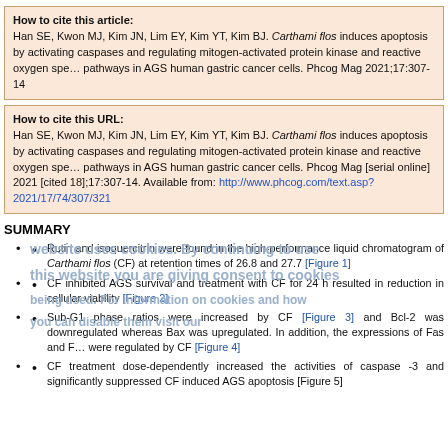How to cite this article: Han SE, Kwon MJ, Kim JN, Lim EY, Kim YT, Kim BJ. Carthami flos induces apoptosis by activating caspases and regulating mitogen-activated protein kinase and reactive oxygen species pathways in AGS human gastric cancer cells. Phcog Mag 2021;17:307-14
How to cite this URL: Han SE, Kwon MJ, Kim JN, Lim EY, Kim YT, Kim BJ. Carthami flos induces apoptosis by activating caspases and regulating mitogen-activated protein kinase and reactive oxygen species pathways in AGS human gastric cancer cells. Phcog Mag [serial online] 2021 [cited 18];17:307-14. Available from: http://www.phcog.com/text.asp?2021/17/74/307/321
SUMMARY
Rutin and isoquercitrin were found in the high-performance liquid chromatogram of Carthami flos (CF) at retention times of 26.8 and 27.7 [Figure 1]
CF inhibited AGS survival and treatment with CF for 24 h resulted in reduction in cellular viability [Figure 2]
Sub-G1 phase ratios were increased by CF [Figure 3] and Bcl-2 was downregulated whereas Bax was upregulated. In addition, the expressions of Fas and FasL were regulated by CF [Figure 4]
CF treatment dose-dependently increased the activities of caspase -3 and significantly suppressed CF induced AGS apoptosis [Figure 5]